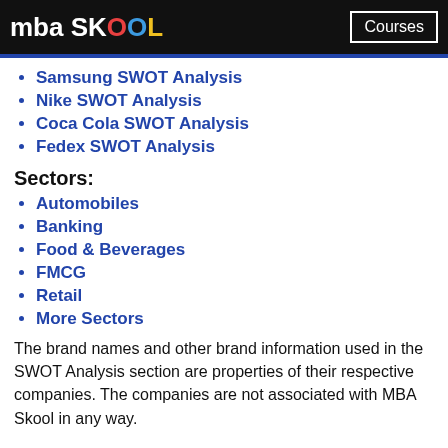mba SKOOL   Courses
Samsung SWOT Analysis
Nike SWOT Analysis
Coca Cola SWOT Analysis
Fedex SWOT Analysis
Sectors:
Automobiles
Banking
Food & Beverages
FMCG
Retail
More Sectors
The brand names and other brand information used in the SWOT Analysis section are properties of their respective companies. The companies are not associated with MBA Skool in any way.